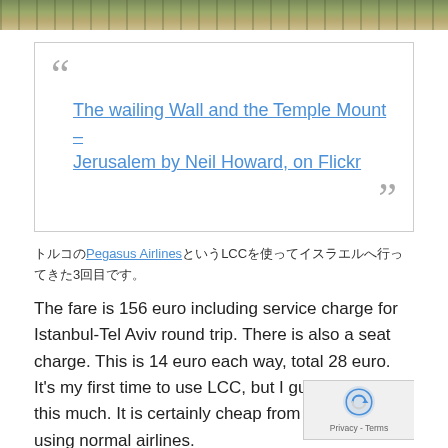[Figure (photo): Top strip of a photo showing people at what appears to be an outdoor site, likely Jerusalem]
"The wailing Wall and the Temple Mount – Jerusalem by Neil Howard, on Flickr"
トルコのPegasus AirlinesというLCCを使ってイスラエルへ行ってきた3回目です。
The fare is 156 euro including service charge for Istanbul-Tel Aviv round trip. There is also a seat charge. This is 14 euro each way, total 28 euro. It's my first time to use LCC, but I guess it's about this much. It is certainly cheap from the sense of using normal airlines.